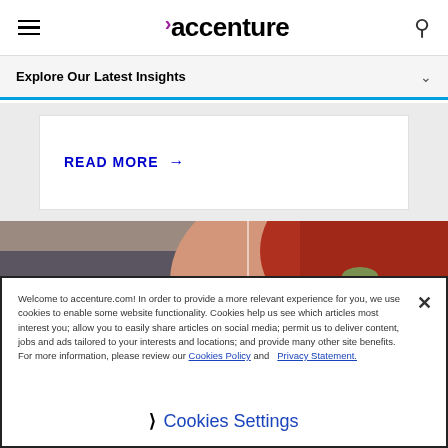accenture (logo) — hamburger menu and search icon
Explore Our Latest Insights
READ MORE →
[Figure (photo): Close-up photo of a woman with red hair looking toward camera, reaching forward with arm]
Welcome to accenture.com! In order to provide a more relevant experience for you, we use cookies to enable some website functionality. Cookies help us see which articles most interest you; allow you to easily share articles on social media; permit us to deliver content, jobs and ads tailored to your interests and locations; and provide many other site benefits. For more information, please review our Cookies Policy and Privacy Statement.
Cookies Settings